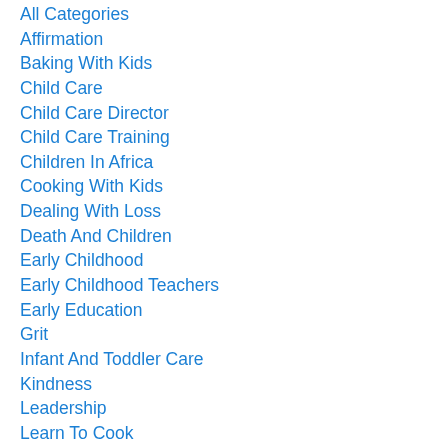All Categories
Affirmation
Baking With Kids
Child Care
Child Care Director
Child Care Training
Children In Africa
Cooking With Kids
Dealing With Loss
Death And Children
Early Childhood
Early Childhood Teachers
Early Education
Grit
Infant And Toddler Care
Kindness
Leadership
Learn To Cook